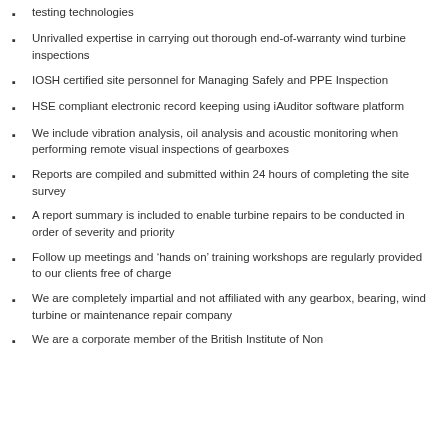testing technologies
Unrivalled expertise in carrying out thorough end-of-warranty wind turbine inspections
IOSH certified site personnel for Managing Safely and PPE Inspection
HSE compliant electronic record keeping using iAuditor software platform
We include vibration analysis, oil analysis and acoustic monitoring when performing remote visual inspections of gearboxes
Reports are compiled and submitted within 24 hours of completing the site survey
A report summary is included to enable turbine repairs to be conducted in order of severity and priority
Follow up meetings and ‘hands on’ training workshops are regularly provided to our clients free of charge
We are completely impartial and not affiliated with any gearbox, bearing, wind turbine or maintenance repair company
We are a corporate member of the British Institute of Non